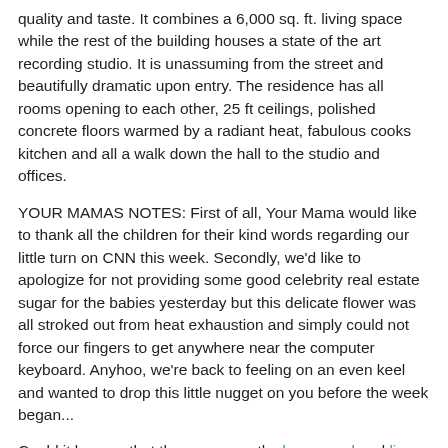quality and taste. It combines a 6,000 sq. ft. living space while the rest of the building houses a state of the art recording studio. It is unassuming from the street and beautifully dramatic upon entry. The residence has all rooms opening to each other, 25 ft ceilings, polished concrete floors warmed by a radiant heat, fabulous cooks kitchen and all a walk down the hall to the studio and offices.
YOUR MAMAS NOTES: First of all, Your Mama would like to thank all the children for their kind words regarding our little turn on CNN this week. Secondly, we'd like to apologize for not providing some good celebrity real estate sugar for the babies yesterday but this delicate flower was all stroked out from heat exhaustion and simply could not force our fingers to get anywhere near the computer keyboard. Anyhoo, we're back to feeling on an even keel and wanted to drop this little nugget on you before the week began...
Could it be now that the very recently dee-vorced and liquor luvin' actor Kiefer Sutherland is dating a high fashion philly from New York City he does not need his giant warehouse of a home in Los Angeles? Well, Your Mama doesn't know shit